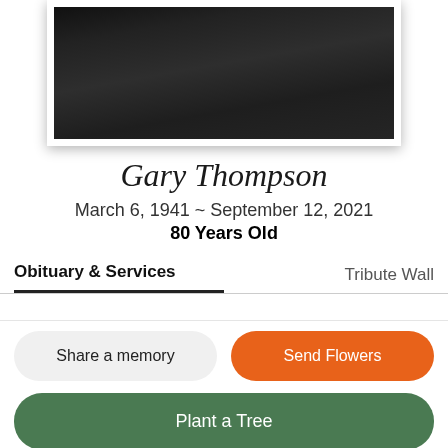[Figure (photo): Portrait photo of Gary Thompson, man in dark suit and tie, shown from chest up, partially cropped at top, within a cream/ivory matted white frame]
Gary Thompson
March 6, 1941 ~ September 12, 2021
80 Years Old
Obituary & Services
Tribute Wall
Share a memory
Send Flowers
Plant a Tree